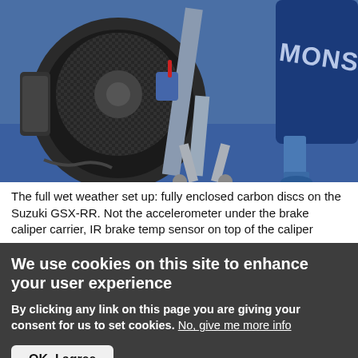[Figure (photo): Close-up photograph of the front wheel of a Suzuki GSX-RR MotoGP motorcycle with fully enclosed carbon brake discs, tire warmers on, mounted on a paddock stand on a blue carpet. A Monster Energy bike is visible in the background.]
The full wet weather set up: fully enclosed carbon discs on the Suzuki GSX-RR. Not the accelerometer under the brake caliper carrier, IR brake temp sensor on top of the caliper
We use cookies on this site to enhance your user experience
By clicking any link on this page you are giving your consent for us to set cookies. No, give me more info
OK, I agree